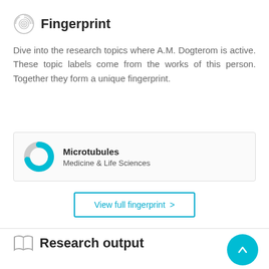Fingerprint
Dive into the research topics where A.M. Dogterom is active. These topic labels come from the works of this person. Together they form a unique fingerprint.
[Figure (infographic): Donut chart icon showing Microtubules topic with cyan and grey arc, labeled 'Microtubules' and 'Medicine & Life Sciences']
View full fingerprint >
Research output